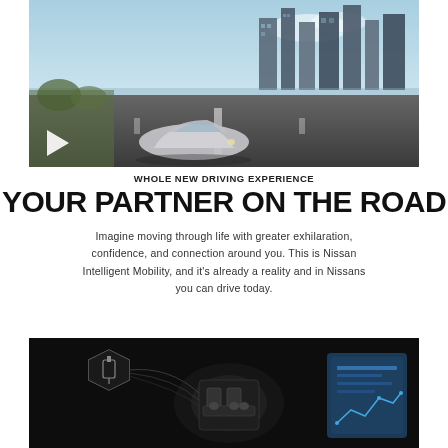[Figure (photo): Nissan electric concept car driving on a highway with a futuristic city skyline in the background. A play button icon is visible in the lower left corner of the image.]
WHOLE NEW DRIVING EXPERIENCE
YOUR PARTNER ON THE ROAD
Imagine moving through life with greater exhilaration, confidence, and connection around you. This is Nissan Intelligent Mobility, and it's already a reality and in Nissans you can drive today.
[Figure (photo): Dark background image showing a Nissan engine/powertrain technology visualization with hexagonal icons and a blue screen display on the right side.]